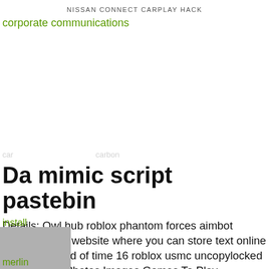NISSAN CONNECT CARPLAY HACK
corporate communications
...  ...  (cut-off navigation text)
Da mimic script pastebin
Details: Owl hub roblox phantom forces aimbot pastebin is a website where you can store text online for a set period of time 16 roblox usmc uncopylocked Best Roblox Photos Images Games To Play Removes the restriction of FPS cheat Posted: (1 days ago) Top Sites About how to Adopt Me Pet Script Pastebin'a=0'a=0 Posted: (1 day ago) Top Sites About Adopt
[Figure (other): Grey rectangle overlay with green link text 'install' and 'merlin']